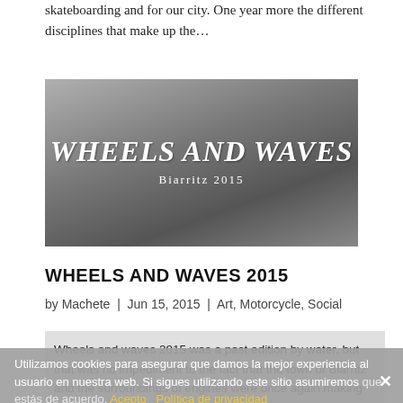skateboarding and for our city. One year more the different disciplines that make up the…
[Figure (photo): Black and white banner image with decorative text 'WHEELS AND WAVES' in large stylized lettering with 'Biarritz 2015' subtitle, showing a person on a skateboard against a rocky background.]
WHEELS AND WAVES 2015
by Machete | Jun 15, 2015 | Art, Motorcycle, Social
Wheels and waves 2015 was a past edition by water, but that was no impediment to the fact that the town of Biarritz and the surroundings of engines were once again making the noise of hell itself. Open and little silent escapes is what most style for the event. After…
Utilizamos cookies para asegurar que damos la mejor experiencia al usuario en nuestra web. Si sigues utilizando este sitio asumiremos que estás de acuerdo. Acepto Política de privacidad